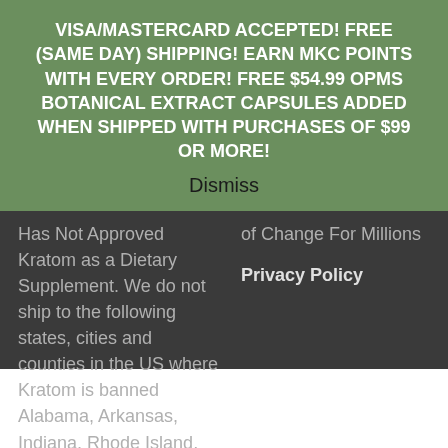VISA/MASTERCARD ACCEPTED! FREE (SAME DAY) SHIPPING! EARN MKC POINTS WITH EVERY ORDER! FREE $54.99 OPMS BOTANICAL EXTRACT CAPSULES ADDED WHEN SHIPPED WITH PURCHASES OF $99 OR MORE!
Dismiss
of Change For Millions
Privacy Policy
Has Not Approved Kratom as a Dietary Supplement. We do not ship to the following states, cities and counties in the US where Kratom is banned Alabama, Arkansas, Indiana, Rhode Island, Tennessee, Vermont, Wisconsin. Sarasota County, Union County, Denver, San Diego.